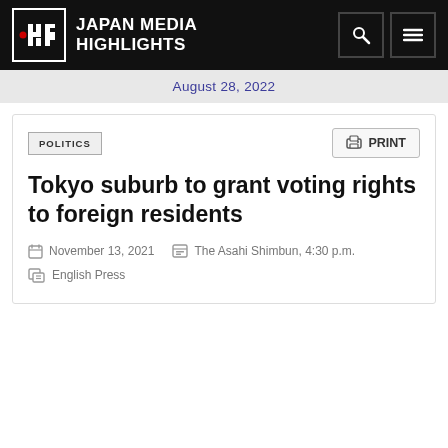JMH JAPAN MEDIA HIGHLIGHTS
August 28, 2022
POLITICS
Tokyo suburb to grant voting rights to foreign residents
November 13, 2021  The Asahi Shimbun, 4:30 p.m.
English Press